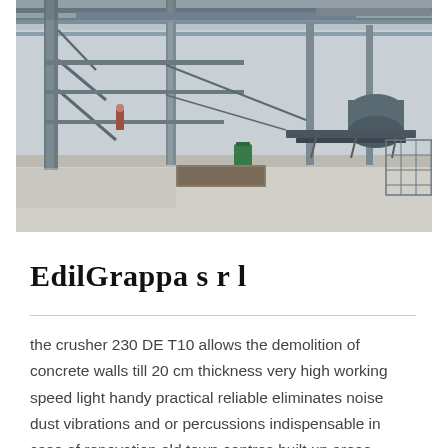[Figure (photo): Industrial facility interior showing steel structural framework, pipes, conveyors, and concrete floors. Workers visible in the background. The image shows a large manufacturing or processing plant with metal scaffolding and equipment.]
EdilGrappa s r l
the crusher 230 DE T10 allows the demolition of concrete walls till 20 cm thickness very high working speed light handy practical reliable eliminates noise dust vibrations and or percussions indispensable in case of renovation old town centres built up areas